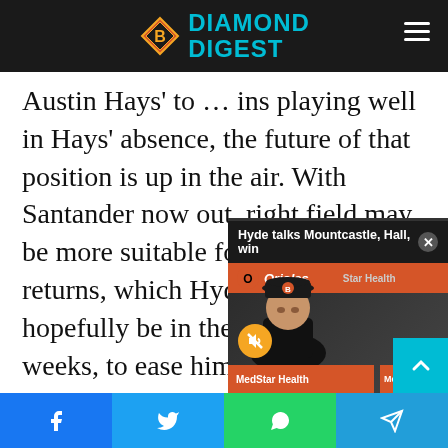Diamond Digest
Austin Hays' to … ins playing well in Hays' absence, the future of that position is up in the air. With Santander now out, right field may be more suitable for Hays when he returns, which Hyde says can hopefully be in the next couple of weeks, to ease him back into action. He played right field during his short stint in the majors in September of 2017, when he became the first player from the 2016 draft class to reach … has filled in quite w… point, homering th… against the Yankee…
[Figure (screenshot): Video popup overlay titled 'Hyde talks Mountcastle, Hall, win' showing Orioles manager Brandon Hyde at a press conference with MedStar Health branding. Has a mute button and close (X) button.]
Social share bar: Facebook, Twitter, WhatsApp, Telegram